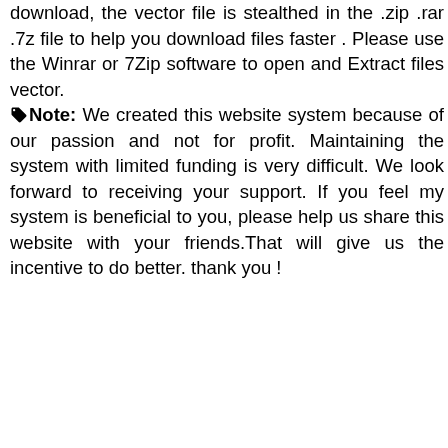download, the vector file is stealthed in the .zip .rar .7z file to help you download files faster . Please use the Winrar or 7Zip software to open and Extract files vector.
Note: We created this website system because of our passion and not for profit. Maintaining the system with limited funding is very difficult. We look forward to receiving your support. If you feel my system is beneficial to you, please help us share this website with your friends.That will give us the incentive to do better. thank you !